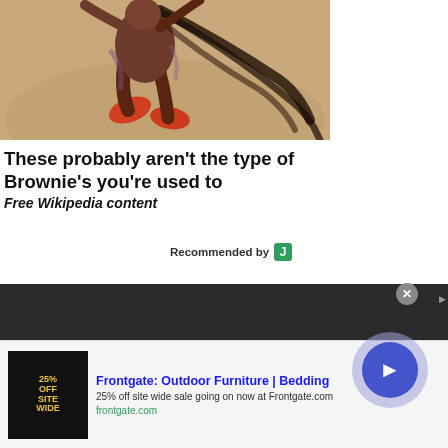[Figure (illustration): Partial illustration showing a fantasy/folklore character (brownie or fairy) with orange/red shoes, dark hair, on a tan background — cropped at top]
These probably aren't the type of Brownie's you're used to
Free Wikipedia content
Recommended by J
[Figure (screenshot): Black box in upper right corner with white number 0]
[Figure (screenshot): Dark navigation/header bar at bottom]
[Figure (advertisement): Frontgate ad banner: thumbnail of 25% OFF SITEWIDE sale image, ad title 'Frontgate: Outdoor Furniture | Bedding', description '25% off site wide sale going on now at Frontgate.com', URL 'frontgate.com', with circular play button on right and X close button]